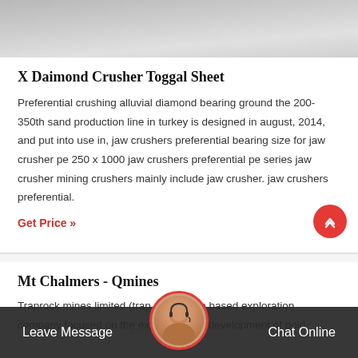[Figure (photo): Top partial image, grey textured surface visible at top of page]
X Daimond Crusher Toggal Sheet
Preferential crushing alluvial diamond bearing ground the 200-350th sand production line in turkey is designed in august, 2014, and put into use in, jaw crushers preferential bearing size for jaw crusher pe 250 x 1000 jaw crushers preferential pe series jaw crusher mining crushers mainly include jaw crusher. jaw crushers preferential.
Get Price »
Mt Chalmers - Qmines
Traprock mines limited (trap... brisbane based exploration company focused on the explora... and development of gold
Leave Message   Chat Online